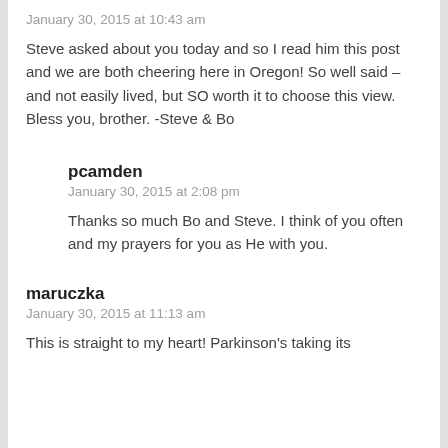January 30, 2015 at 10:43 am
Steve asked about you today and so I read him this post and we are both cheering here in Oregon! So well said – and not easily lived, but SO worth it to choose this view. Bless you, brother. -Steve & Bo
pcamden
January 30, 2015 at 2:08 pm
Thanks so much Bo and Steve. I think of you often and my prayers for you as He with you.
maruczka
January 30, 2015 at 11:13 am
This is straight to my heart! Parkinson's taking its